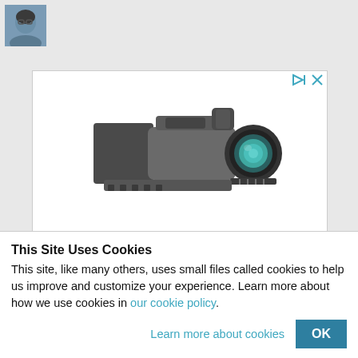[Figure (photo): Small avatar/profile photo of a person wearing glasses, blue-tinted, in the top-left corner]
[Figure (photo): Advertisement banner showing a monocular/telescope product (black body with teal lens) on white background, with ad controls (play and close icons) in top-right corner, and bold text 'This Might Just Be The' at the bottom]
This Site Uses Cookies
This site, like many others, uses small files called cookies to help us improve and customize your experience. Learn more about how we use cookies in our cookie policy.
Learn more about cookies
OK